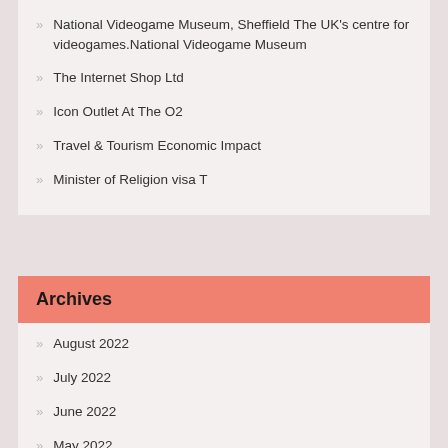National Videogame Museum, Sheffield The UK's centre for videogames.National Videogame Museum
The Internet Shop Ltd
Icon Outlet At The O2
Travel & Tourism Economic Impact
Minister of Religion visa T
Archives
August 2022
July 2022
June 2022
May 2022